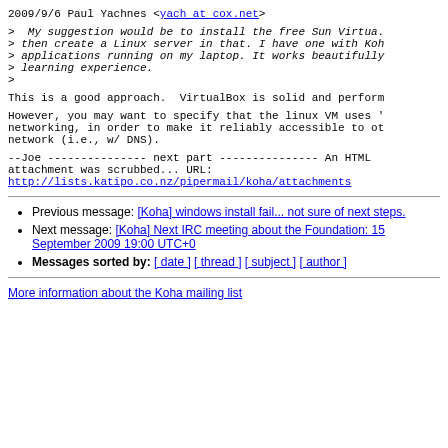2009/9/6 Paul Yachnes <yach at cox.net>
> My suggestion would be to install the free Sun Virtua.
> then create a Linux server in that. I have one with Koh
> applications running on my laptop. It works beautifully
> learning experience.
>
This is a good approach.  VirtualBox is solid and perform
However, you may want to specify that the linux VM uses 'bridged'
networking, in order to make it reliably accessible to other on the
network (i.e., w/ DNS).
--Joe
--------------- next part ---------------
An HTML attachment was scrubbed...
URL: http://lists.katipo.co.nz/pipermail/koha/attachments
Previous message: [Koha] windows install fail... not sure of next steps.
Next message: [Koha] Next IRC meeting about the Foundation: 15 September 2009 19:00 UTC+0
Messages sorted by: [ date ] [ thread ] [ subject ] [ author ]
More information about the Koha mailing list